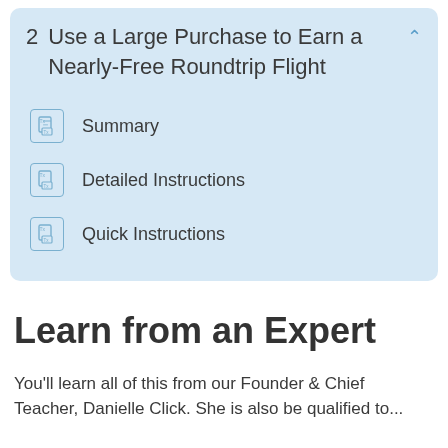2  Use a Large Purchase to Earn a Nearly-Free Roundtrip Flight
Summary
Detailed Instructions
Quick Instructions
Learn from an Expert
You'll learn all of this from our Founder & Chief Teacher, Danielle Click. She is also be qualified to...